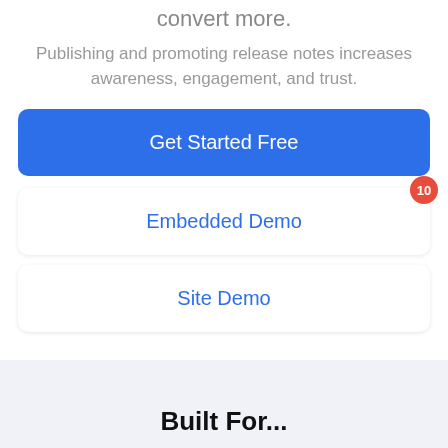convert more.
Publishing and promoting release notes increases awareness, engagement, and trust.
Get Started Free
Embedded Demo
Site Demo
Built For...